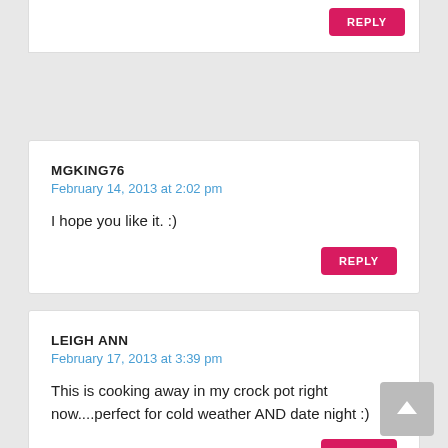REPLY (top partial card)
MGKING76
February 14, 2013 at 2:02 pm
I hope you like it. :)
REPLY
LEIGH ANN
February 17, 2013 at 3:39 pm
This is cooking away in my crock pot right now....perfect for cold weather AND date night :)
REPLY